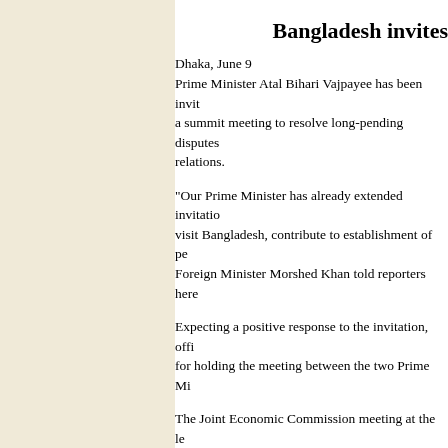Bangladesh invites
Dhaka, June 9
Prime Minister Atal Bihari Vajpayee has been invited to Bangladesh for a summit meeting to resolve long-pending disputes and improve bilateral relations.
“Our Prime Minister has already extended invitation to Mr Vajpayee to visit Bangladesh, contribute to establishment of pe... Foreign Minister Morshed Khan told reporters here
Expecting a positive response to the invitation, offi... for holding the meeting between the two Prime Mi...
The Joint Economic Commission meeting at the le... month, will discuss the planned summit, Mr Khan ...
Stressing the importance of summit-level meeting ... “It is essential to improve relations between the tw...
Asked about the timing of the meet, he said: “It mi...
Japan pledg